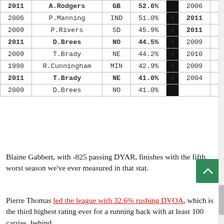| Year | Player | Team | Pct |  | Year2 | Player2 |
| --- | --- | --- | --- | --- | --- | --- |
| 2011 | A.Rodgers | GB | 52.6% | x | 2006 | P. |
| 2006 | P.Manning | IND | 51.0% | x | 2011 | A. |
| 2009 | P.Rivers | SD | 45.9% | x | 2011 | T. |
| 2011 | D.Brees | NO | 44.5% | x | 2009 | T. |
| 2009 | T.Brady | NE | 44.2% | x | 2010 | T. |
| 1998 | R.Cunningham | MIN | 42.9% | x | 2009 | P. |
| 2011 | T.Brady | NE | 41.0% | x | 2004 | D.C |
| 2009 | D.Brees | NO | 41.0% |  |  |  |
Blaine Gabbert, with -825 passing DYAR, finishes with the fifth worst season we've ever measured in that stat.
Pierre Thomas led the league with 32.6% rushing DVOA, which is the third highest rating ever for a running back with at least 100 carries, behind Marshall Faulk (35.9% in 2000) and Jamal Lewis